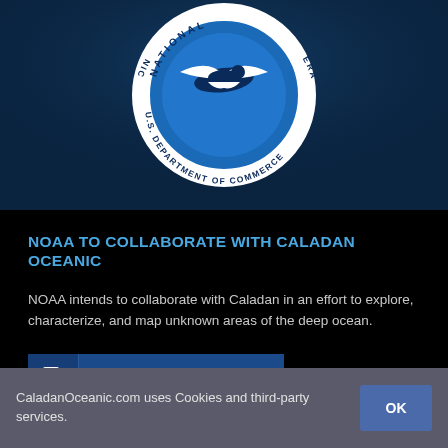[Figure (logo): NOAA seal/logo on dark navy blue background. Circular seal showing a bird in flight with text 'NATIONAL' visible at top and 'U.S. DEPARTMENT OF COMMERCE' around the bottom half of the ring.]
NOAA TO COLLABORATE WITH CALADAN OCEANIC
NOAA intends to collaborate with Caladan in an effort to explore, characterize, and map unknown areas of the deep ocean.
READ ON NOAA.GOV
CaladanOceanic.com uses Cookies and third-party services.